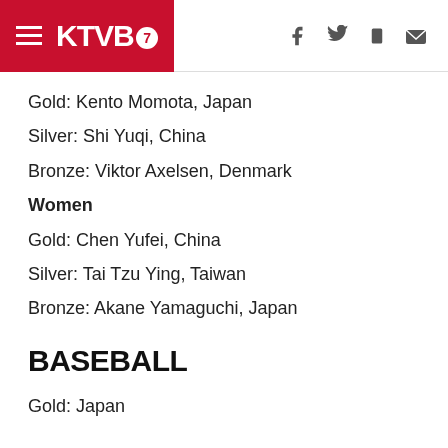KTVB7
Gold: Kento Momota, Japan
Silver: Shi Yuqi, China
Bronze: Viktor Axelsen, Denmark
Women
Gold: Chen Yufei, China
Silver: Tai Tzu Ying, Taiwan
Bronze: Akane Yamaguchi, Japan
BASEBALL
Gold: Japan